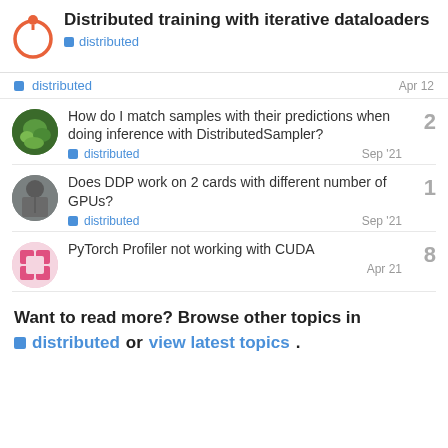Distributed training with iterative dataloaders
distributed
distributed Apr 12
How do I match samples with their predictions when doing inference with DistributedSampler?
distributed Sep '21
Does DDP work on 2 cards with different number of GPUs?
distributed Sep '21
PyTorch Profiler not working with CUDA
Apr 21
Want to read more? Browse other topics in distributed or view latest topics.